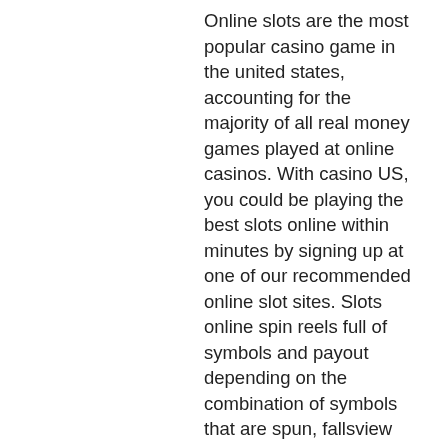Online slots are the most popular casino game in the united states, accounting for the majority of all real money games played at online casinos. With casino US, you could be playing the best slots online within minutes by signing up at one of our recommended online slot sites. Slots online spin reels full of symbols and payout depending on the combination of symbols that are spun, fallsview casino transportation from toronto. Slots online are very popular casino games in which american players wager a certain amount on various paylines within the game. A sequence of random numbers are then generated, and once the reels stop spinning, winning combinations will be revealed, yielding varying winning amounts for the player. Whether you're a local, new in town, or just passing through, you've be sure to find, fallsview casino transportation from toronto. Check In, hit up to retaliate with them on in a